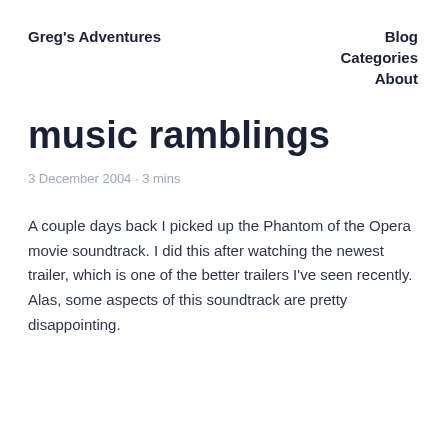Greg's Adventures
Blog
Categories
About
music ramblings
3 December 2004 · 3 mins
A couple days back I picked up the Phantom of the Opera movie soundtrack. I did this after watching the newest trailer, which is one of the better trailers I've seen recently. Alas, some aspects of this soundtrack are pretty disappointing.